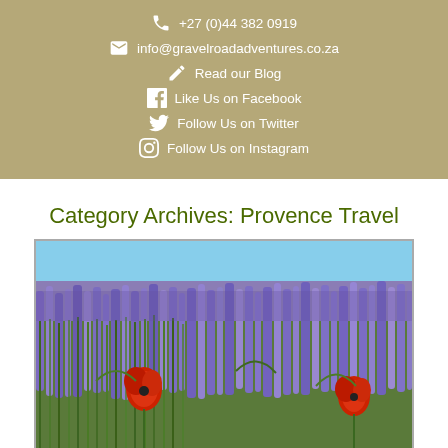+27 (0)44 382 0919
info@gravelroadadventures.co.za
Read our Blog
Like Us on Facebook
Follow Us on Twitter
Follow Us on Instagram
Category Archives: Provence Travel
[Figure (photo): A field of purple lavender plants with red poppy flowers mixed in, photographed up close against a blue sky background.]